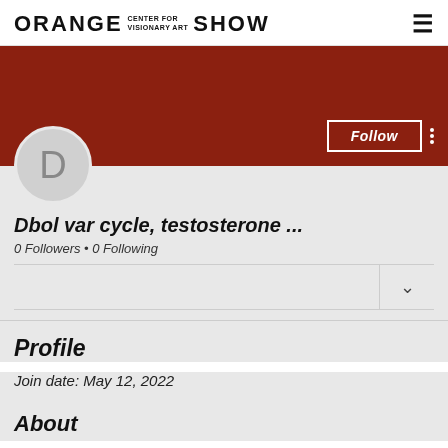ORANGE CENTER FOR VISIONARY ART SHOW
[Figure (screenshot): Dark red/brown banner background with Follow button and three-dot menu icon]
[Figure (illustration): Circular avatar placeholder with letter D]
Dbol var cycle, testosterone ...
0 Followers • 0 Following
Profile
Join date: May 12, 2022
About